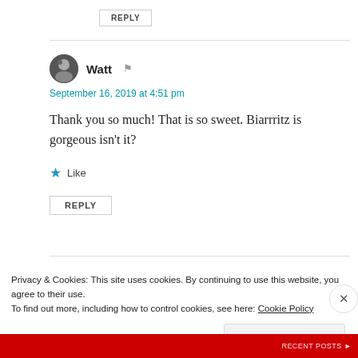REPLY
Watt
September 16, 2019 at 4:51 pm
Thank you so much! That is so sweet. Biarrritz is gorgeous isn't it?
Like
REPLY
Privacy & Cookies: This site uses cookies. By continuing to use this website, you agree to their use. To find out more, including how to control cookies, see here: Cookie Policy
Close and accept